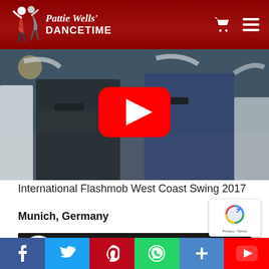Pattie Wells' DANCETIME
[Figure (screenshot): YouTube video thumbnail showing people dancing West Coast Swing at a beach location with a red YouTube play button overlay]
International Flashmob West Coast Swing 2017
Munich, Germany
[Figure (screenshot): YouTube video embed showing München - International Flashm... with Good Dance logo and video controls]
[Figure (infographic): Social media sharing buttons: Facebook, Twitter, Pinterest, WhatsApp, More, YouTube]